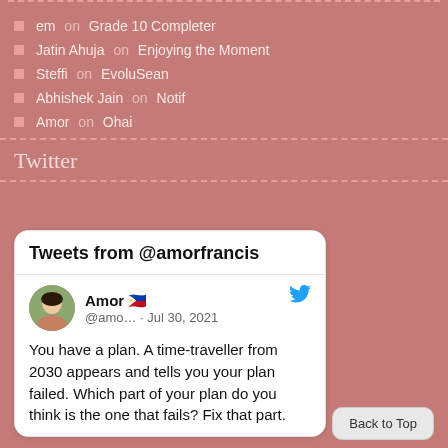em on Grade 10 Completer
Jatin Ahuja on Enjoying the Moment
Steffi on EvoluSean
Abhishek Jain on Notif
Amor on Ohai
Twitter
[Figure (screenshot): Embedded Twitter widget showing tweets from @amorfrancis. Tweet by Amor with Philippine flag emoji, handle @amo..., dated Jul 30, 2021. Tweet text: You have a plan. A time-traveller from 2030 appears and tells you your plan failed. Which part of your plan do you think is the one that fails? Fix that part.]
Back to Top